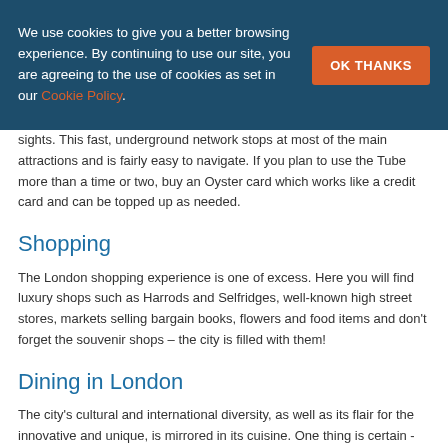We use cookies to give you a better browsing experience. By continuing to use our site, you are agreeing to the use of cookies as set in our Cookie Policy.
OK THANKS
sights. This fast, underground network stops at most of the main attractions and is fairly easy to navigate. If you plan to use the Tube more than a time or two, buy an Oyster card which works like a credit card and can be topped up as needed.
Shopping
The London shopping experience is one of excess. Here you will find luxury shops such as Harrods and Selfridges, well-known high street stores, markets selling bargain books, flowers and food items and don't forget the souvenir shops – the city is filled with them!
Dining in London
The city's cultural and international diversity, as well as its flair for the innovative and unique, is mirrored in its cuisine. One thing is certain - London is passionate about food. Whether you are looking for an exorbitant West End